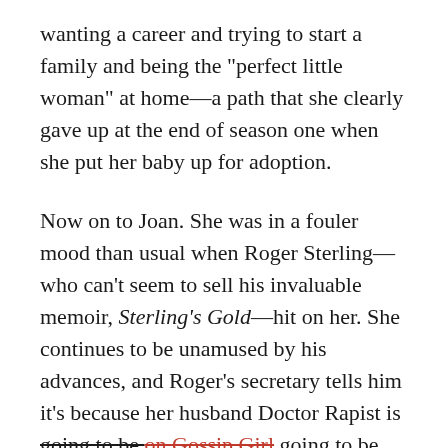wanting a career and trying to start a family and being the "perfect little woman" at home—a path that she clearly gave up at the end of season one when she put her baby up for adoption.
Now on to Joan. She was in a fouler mood than usual when Roger Sterling—who can't seem to sell his invaluable memoir, Sterling's Gold—hit on her. She continues to be unamused by his advances, and Roger's secretary tells him it's because her husband Doctor Rapist is going to be [strikethrough: on Gossip Girl] going to be shipped out to Vietnam right after basic training. If this were a Choose Your Own Adventure™, I would tell you if Doctor Rapist is going to be killed in Vietnam you would turn to page 14 and if he comes back maimed and